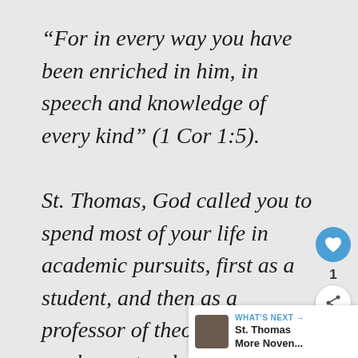“For in every way you have been enriched in him, in speech and knowledge of every kind” (1 Cor 1:5). St. Thomas, God called you to spend most of your life in academic pursuits, first as a student, and then as a professor of theology. In your work as a teacher, you desired to help your